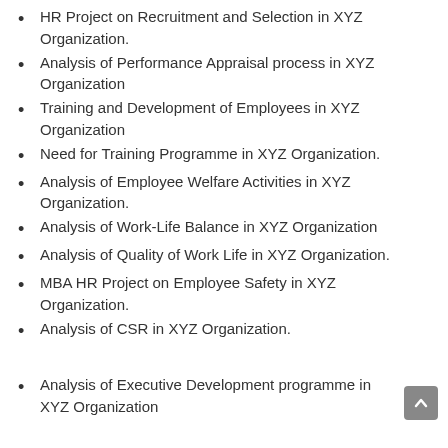HR Project on Recruitment and Selection in XYZ Organization.
Analysis of Performance Appraisal process in XYZ Organization
Training and Development of Employees in XYZ Organization
Need for Training Programme in XYZ Organization.
Analysis of Employee Welfare Activities in XYZ Organization.
Analysis of Work-Life Balance in XYZ Organization
Analysis of Quality of Work Life in XYZ Organization.
MBA HR Project on Employee Safety in XYZ Organization.
Analysis of CSR in XYZ Organization.
Analysis of Executive Development programme in XYZ Organization